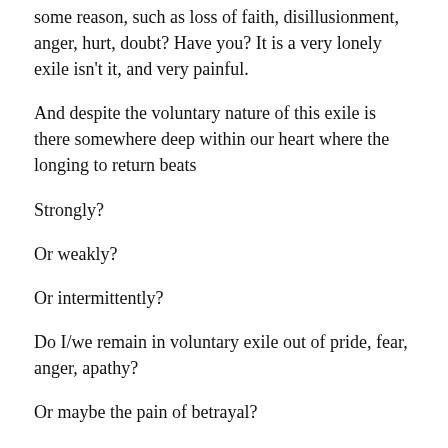some reason, such as loss of faith, disillusionment, anger, hurt, doubt? Have you? It is a very lonely exile isn't it, and very painful.
And despite the voluntary nature of this exile is there somewhere deep within our heart where the longing to return beats
Strongly?
Or weakly?
Or intermittently?
Do I/we remain in voluntary exile out of pride, fear, anger, apathy?
Or maybe the pain of betrayal?
Perhaps, though not the same, there is a connection between a broken heart and a melting heart and it seems to me that the connection may have something to do with repentance, regret, return. A breaking heart realizes